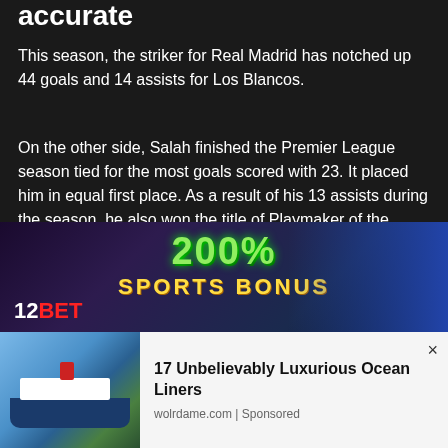accurate
This season, the striker for Real Madrid has notched up 44 goals and 14 assists for Los Blancos.
On the other side, Salah finished the Premier League season tied for the most goals scored with 23. It placed him in equal first place. As a result of his 13 assists during the season, he also won the title of Playmaker of the Season.
Both Benzema and Salah are now in a very good position to win the accolade. The Champions League final has the
[Figure (photo): Sports betting advertisement banner showing 200% sports bonus text with cricket players on the right and 12BET logo on the left]
[Figure (photo): Advertisement showing a cruise ship image on the left]
17 Unbelievably Luxurious Ocean Liners
wolrdame.com | Sponsored